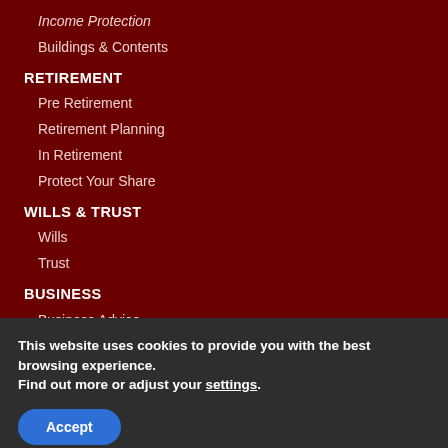Income Protection
Buildings & Contents
RETIREMENT
Pre Retirement
Retirement Planning
In Retirement
Protect Your Share
WILLS & TRUST
Wills
Trust
BUSINESS
Business Advice
This website uses cookies to provide you with the best browsing experience.
Find out more or adjust your settings.
Accept